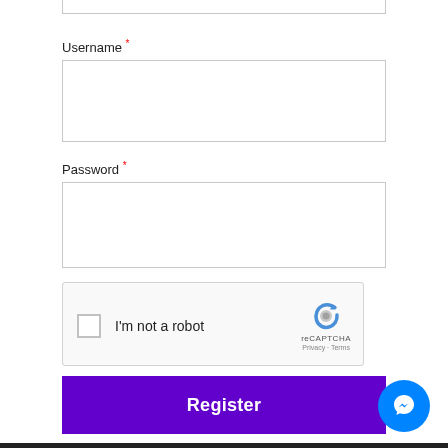[Figure (screenshot): Top partial input field (cut off at top of page)]
Username *
[Figure (screenshot): Username input text field (empty)]
Password *
[Figure (screenshot): Password input text field (empty)]
[Figure (screenshot): reCAPTCHA widget with checkbox 'I'm not a robot' and reCAPTCHA logo with Privacy · Terms links]
[Figure (screenshot): Register button (purple background, white bold text)]
[Figure (screenshot): Facebook Messenger chat button (blue circle with lightning bolt icon)]